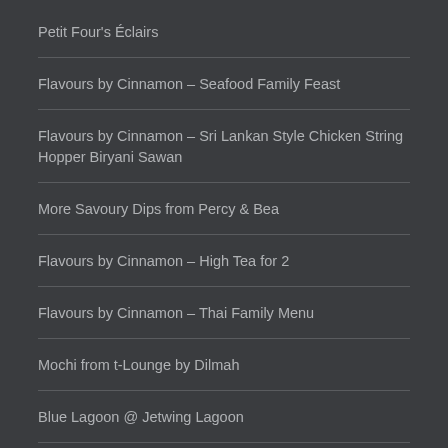Petit Four's Éclairs
Flavours by Cinnamon – Seafood Family Feast
Flavours by Cinnamon – Sri Lankan Style Chicken String Hopper Biryani Sawan
More Savoury Dips from Percy & Bea
Flavours by Cinnamon – High Tea for 2
Flavours by Cinnamon – Thai Family Menu
Mochi from t-Lounge by Dilmah
Blue Lagoon @ Jetwing Lagoon